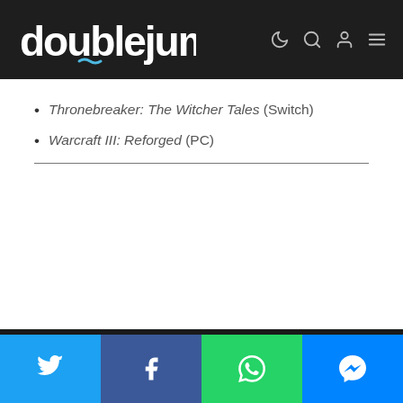doublejump
Thronebreaker: The Witcher Tales (Switch)
Warcraft III: Reforged (PC)
Revenant has a score to settle.